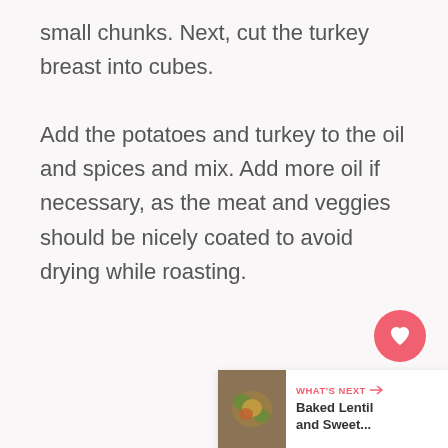small chunks. Next, cut the turkey breast into cubes.

Add the potatoes and turkey to the oil and spices and mix. Add more oil if necessary, as the meat and veggies should be nicely coated to avoid drying while roasting.
[Figure (other): Heart (favorite) button - circular pink/red button with white heart icon]
[Figure (other): Share button - circular white button with share icon]
[Figure (other): What's Next panel showing a food thumbnail image of Baked Lentil and Sweet... recipe]